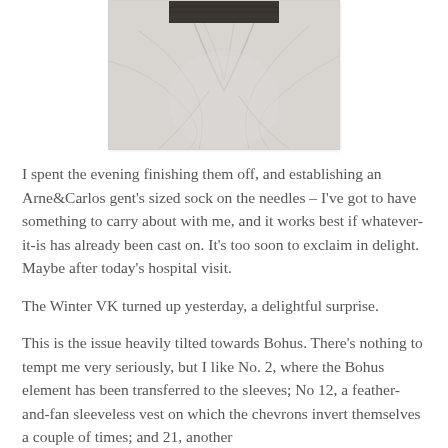[Figure (photo): A close-up photograph of fabric with visible texture and creases, appearing to show a light-colored cloth or garment with a dark knitted element visible at the top edge.]
I spent the evening finishing them off, and establishing an Arne&Carlos gent's sized sock on the needles – I've got to have something to carry about with me, and it works best if whatever-it-is has already been cast on. It's too soon to exclaim in delight. Maybe after today's hospital visit.
The Winter VK turned up yesterday, a delightful surprise.
This is the issue heavily tilted towards Bohus. There's nothing to tempt me very seriously, but I like No. 2, where the Bohus element has been transferred to the sleeves; No 12, a feather-and-fan sleeveless vest on which the chevrons invert themselves a couple of times; and 21, another